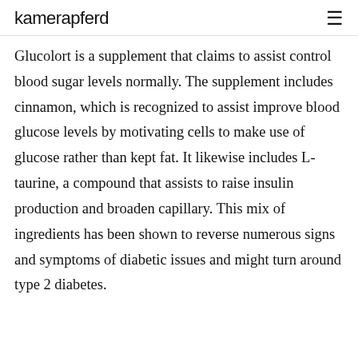kamerapferd
Glucolort is a supplement that claims to assist control blood sugar levels normally. The supplement includes cinnamon, which is recognized to assist improve blood glucose levels by motivating cells to make use of glucose rather than kept fat. It likewise includes L-taurine, a compound that assists to raise insulin production and broaden capillary. This mix of ingredients has been shown to reverse numerous signs and symptoms of diabetic issues and might turn around type 2 diabetes.